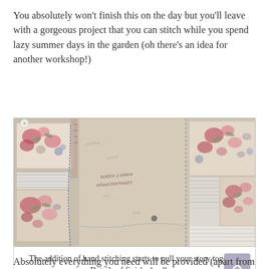You absolutely won't finish this on the day but you'll leave with a gorgeous project that you can stitch while you spend lazy summer days in the garden (oh there's an idea for another workshop!)
[Figure (photo): Close-up photograph of a fabric collage/textile artwork showing patchwork pieces with floral patterns, striped fabrics, hand stitching in various colors, and handwritten script text embroidered on linen.]
The addition of hand stitching starts to pull your story together
Details of finished collage
Absolutely everything you need will be provided (apart from